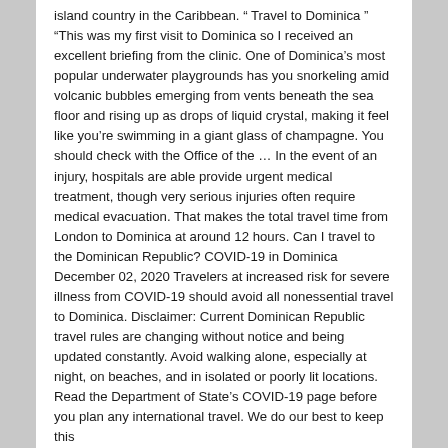island country in the Caribbean. “ Travel to Dominica “ “This was my first visit to Dominica so I received an excellent briefing from the clinic. One of Dominica’s most popular underwater playgrounds has you snorkeling amid volcanic bubbles emerging from vents beneath the sea floor and rising up as drops of liquid crystal, making it feel like you’re swimming in a giant glass of champagne. You should check with the Office of the … In the event of an injury, hospitals are able provide urgent medical treatment, though very serious injuries often require medical evacuation. That makes the total travel time from London to Dominica at around 12 hours. Can I travel to the Dominican Republic? COVID-19 in Dominica December 02, 2020 Travelers at increased risk for severe illness from COVID-19 should avoid all nonessential travel to Dominica. Disclaimer: Current Dominican Republic travel rules are changing without notice and being updated constantly. Avoid walking alone, especially at night, on beaches, and in isolated or poorly lit locations. Read the Department of State’s COVID-19 page before you plan any international travel. We do our best to keep this